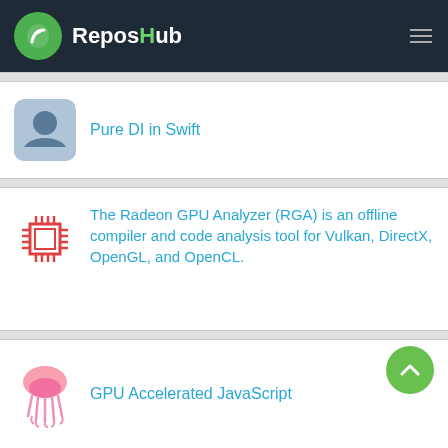ReposHub
Pure DI in Swift
The Radeon GPU Analyzer (RGA) is an offline compiler and code analysis tool for Vulkan, DirectX, OpenGL, and OpenCL.
GPU Accelerated JavaScript
Library for faster pinned CPU <-> GPU transfer in Pytorch
GPU Manager is used for managing the nvidia GPU device in Ubuntu operating system.